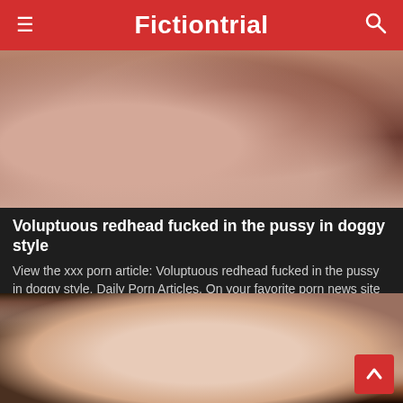Fictiontrial
[Figure (photo): Close-up photo of a redhead woman in a sexual position]
Voluptuous redhead fucked in the pussy in doggy style
View the xxx porn article: Voluptuous redhead fucked in the pussy in doggy style, Daily Porn Articles. On your favorite porn news site FICTIONTRIAL.INFO!
20 Views · Likes 0
[Figure (photo): Close-up photo of a woman's buttocks outdoors]